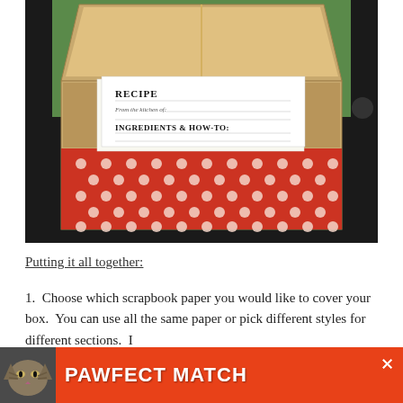[Figure (photo): A cardboard recipe box with a red and white polka-dot pattern on the sides, open lid, containing white recipe cards. The front card reads 'RECIPE / From the kitchen of: / INGREDIENTS & HOW-TO:'. The box sits on a dark surface with a green background.]
Putting it all together:
1.  Choose which scrapbook paper you would like to cover your box.  You can use all the same paper or pick different styles for different sections.  I
[Figure (screenshot): Advertisement banner for 'PAWFECT MATCH' with an orange/red background, cat photo on the left, bold white text 'PAWFECT MATCH', and close (X) buttons.]